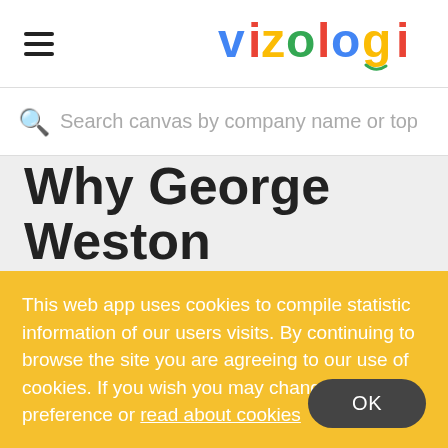[Figure (logo): Vizologi colorful logo in top right header]
Search canvas by company name or top
Why George Weston
This web app uses cookies to compile statistic information of our users visits. By continuing to browse the site you are agreeing to our use of cookies. If you wish you may change your preference or read about cookies
OK